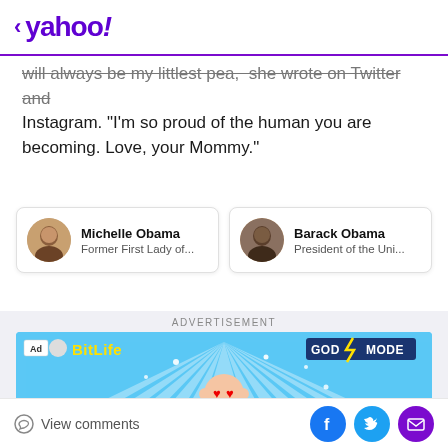< yahoo!
will always be my littlest pea," she wrote on Twitter and Instagram. "I'm so proud of the human you are becoming. Love, your Mommy."
Michelle Obama — Former First Lady of...
Barack Obama — President of the Uni...
[Figure (screenshot): BitLife GOD MODE advertisement banner with cartoon character]
View comments | Facebook | Twitter | Mail